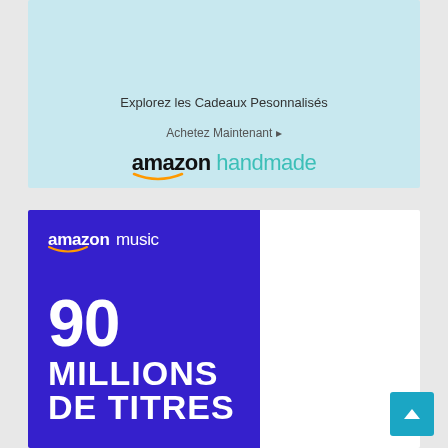[Figure (advertisement): Amazon Handmade ad with light blue background showing personalized gifts promotion. Text reads: 'Explorez les Cadeaux Pesonnalisés', 'Achetez Maintenant ▸', and the Amazon handmade logo.]
[Figure (advertisement): Amazon Music ad with blue/purple background showing '90 MILLIONS DE TITRES' in large white bold text, with the Amazon Music logo in white.]